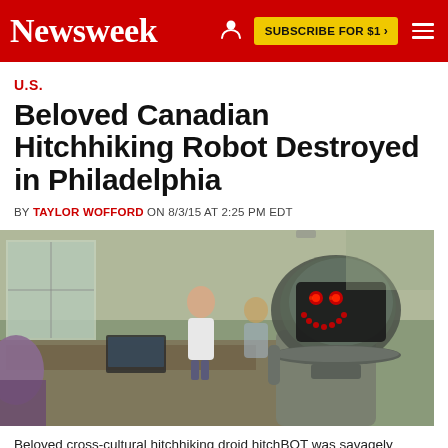Newsweek | SUBSCRIBE FOR $1 >
U.S.
Beloved Canadian Hitchhiking Robot Destroyed in Philadelphia
BY TAYLOR WOFFORD ON 8/3/15 AT 2:25 PM EDT
[Figure (photo): Close-up of hitchBOT robot with glowing red LED smiley face display inside a transparent dome head, with people and a living room blurred in the background.]
Beloved cross-cultural hitchhiking droid hitchBOT was savagely